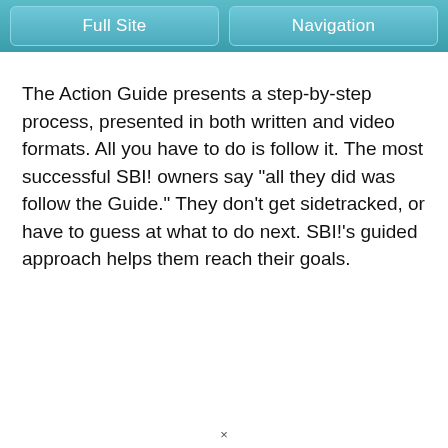Full Site  Navigation
The Action Guide presents a step-by-step process, presented in both written and video formats. All you have to do is follow it. The most successful SBI! owners say "all they did was follow the Guide." They don't get sidetracked, or have to guess at what to do next. SBI!'s guided approach helps them reach their goals.